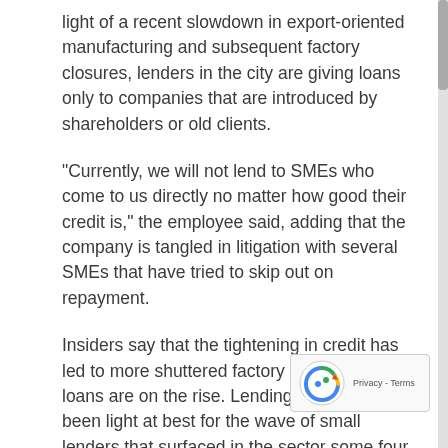light of a recent slowdown in export-oriented manufacturing and subsequent factory closures, lenders in the city are giving loans only to companies that are introduced by shareholders or old clients.
“Currently, we will not lend to SMEs who come to us directly no matter how good their credit is,” the employee said, adding that the company is tangled in litigation with several SMEs that have tried to skip out on repayment.
Insiders say that the tightening in credit has led to more shuttered factory doors, and bad loans are on the rise. Lending regulation has been light at best for the wave of small lenders that surfaced in the sector some four years earlier. Now both lenders and borrowers are going belly-up in some of the most highly affected regions, namely manufacturing centers in Zhejiang and Guangdong provinces, as well as in Shanghai.
When the global economic crisis slashed demand fo... Chinese exports in 2008 and 2009, the People's Bank of...